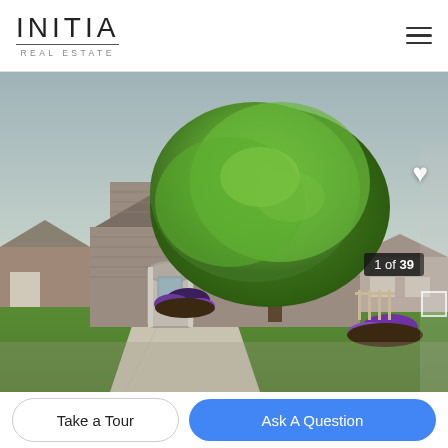[Figure (logo): INITIA REAL ESTATE logo — bold thin-weight sans-serif word INITIA with underline, text REAL ESTATE below in spaced caps]
[Figure (photo): Exterior photo of a two-story residential house with grey/brown siding, white-trimmed windows and arched front door, large mature green tree in front yard, purple flowering plants in mulch bed, concrete driveway, green lawn, neighbouring houses visible. Overcast sky.]
1 of 39
Take a Tour
Ask A Question